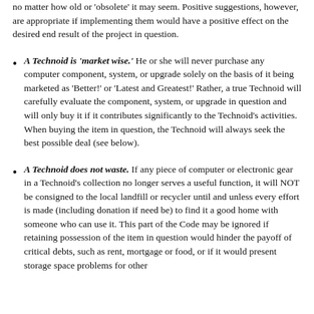no matter how old or 'obsolete' it may seem. Positive suggestions, however, are appropriate if implementing them would have a positive effect on the desired end result of the project in question.
A Technoid is 'market wise.' He or she will never purchase any computer component, system, or upgrade solely on the basis of it being marketed as 'Better!' or 'Latest and Greatest!' Rather, a true Technoid will carefully evaluate the component, system, or upgrade in question and will only buy it if it contributes significantly to the Technoid's activities. When buying the item in question, the Technoid will always seek the best possible deal (see below).
A Technoid does not waste. If any piece of computer or electronic gear in a Technoid's collection no longer serves a useful function, it will NOT be consigned to the local landfill or recycler until and unless every effort is made (including donation if need be) to find it a good home with someone who can use it. This part of the Code may be ignored if retaining possession of the item in question would hinder the payoff of critical debts, such as rent, mortgage or food, or if it would present storage space problems for other